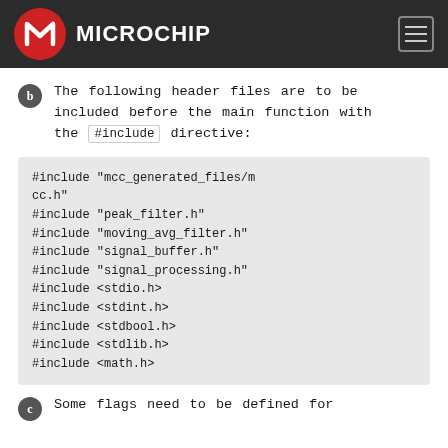Microchip
b  The following header files are to be included before the main function with the #include directive:
#include "mcc_generated_files/mcc.h"
#include "peak_filter.h"
#include "moving_avg_filter.h"
#include "signal_buffer.h"
#include "signal_processing.h"
#include <stdio.h>
#include <stdint.h>
#include <stdbool.h>
#include <stdlib.h>
#include <math.h>
c  Some flags need to be defined for